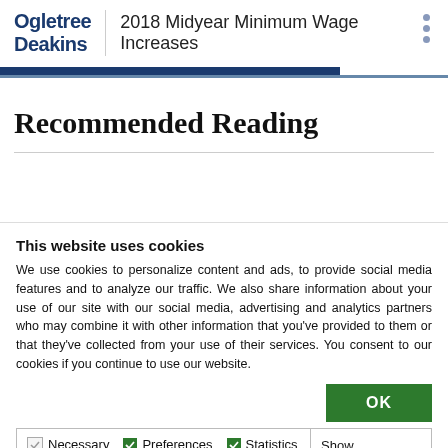Ogletree Deakins | 2018 Midyear Minimum Wage Increases
Recommended Reading
This website uses cookies
We use cookies to personalize content and ads, to provide social media features and to analyze our traffic. We also share information about your use of our site with our social media, advertising and analytics partners who may combine it with other information that you've provided to them or that they've collected from your use of their services. You consent to our cookies if you continue to use our website.
OK
Necessary  Preferences  Statistics  Marketing  Show details